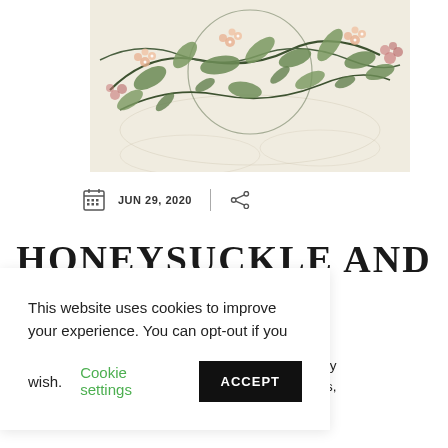[Figure (illustration): Decorative botanical artwork showing honeysuckle vines, leaves and small flowers in green and pink tones on a pale background, with pencil sketch outlines visible below.]
JUN 29, 2020
HONEYSUCKLE AND ...RE
This website uses cookies to improve your experience. You can opt-out if you wish.  Cookie settings  ACCEPT
ld grey mpets,